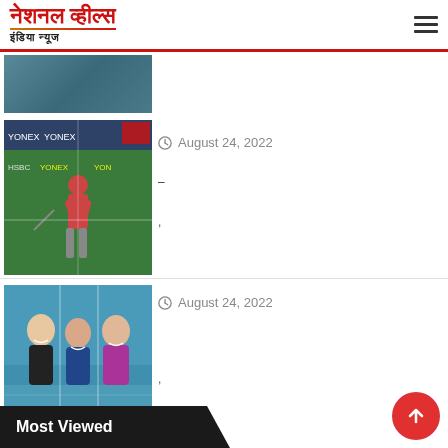नेशनल व्हील्स - इंडिया न्यूज
[Figure (photo): Partial sports/badminton image at top strip]
[Figure (photo): Badminton player in action at tournament with YONEX and HSBC branding]
August 24, 2022
-
,
[Figure (photo): Women in swimwear at a swimming pool]
August 24, 2022
,
Most Viewed